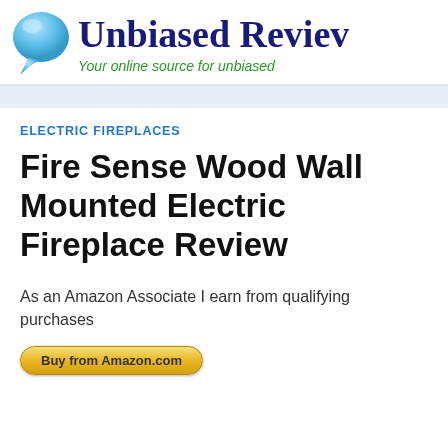Unbiased Review — Your online source for unbiased
ELECTRIC FIREPLACES
Fire Sense Wood Wall Mounted Electric Fireplace Review
As an Amazon Associate I earn from qualifying purchases
Buy from Amazon.com